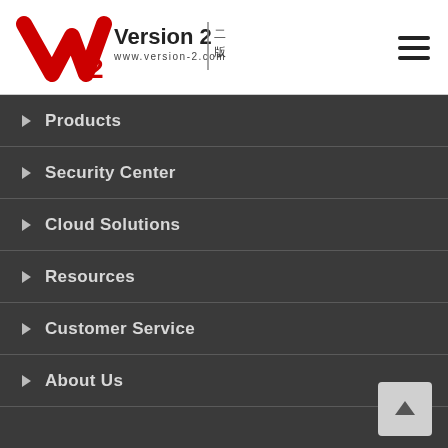[Figure (logo): Version 2 logo with red V2 icon and text 'Version 2 www.version-2.com' with Chinese character 二版]
Products
Security Center
Cloud Solutions
Resources
Customer Service
About Us